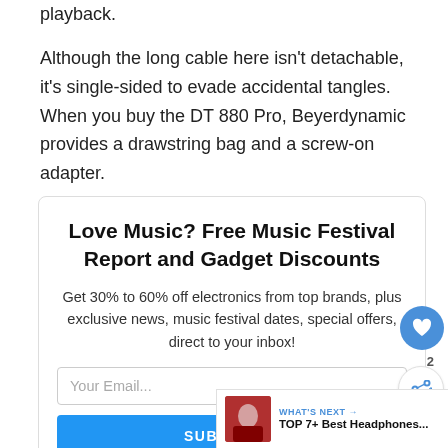playback.
Although the long cable here isn't detachable, it's single-sided to evade accidental tangles. When you buy the DT 880 Pro, Beyerdynamic provides a drawstring bag and a screw-on adapter.
Love Music? Free Music Festival Report and Gadget Discounts
Get 30% to 60% off electronics from top brands, plus exclusive news, music festival dates, special offers, direct to your inbox!
Your Email...
SUBSCRIBE
WHAT'S NEXT → TOP 7+ Best Headphones...